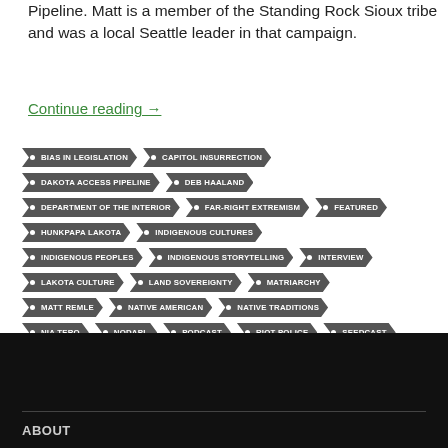Pipeline. Matt is a member of the Standing Rock Sioux tribe and was a local Seattle leader in that campaign.
Continue reading →
BIAS IN LEGISLATION
CAPITOL INSURRECTION
DAKOTA ACCESS PIPELINE
DEB HAALAND
DEPARTMENT OF THE INTERIOR
FAR-RIGHT EXTREMISM
FEATURED
HUNKPAPA LAKOTA
INDIGENOUS CULTURES
INDIGENOUS PEOPLES
INDIGENOUS STORYTELLING
INTERVIEW
LAKOTA CULTURE
LAND SOVEREIGNTY
MATRIARCHY
MATT REMLE
NATIVE AMERICAN
NATIVE TRADITIONS
NIA TERO
NODAPL
PODCAST
RIOT POLICE
SEEDCAST
STANDING ROCK
ABOUT